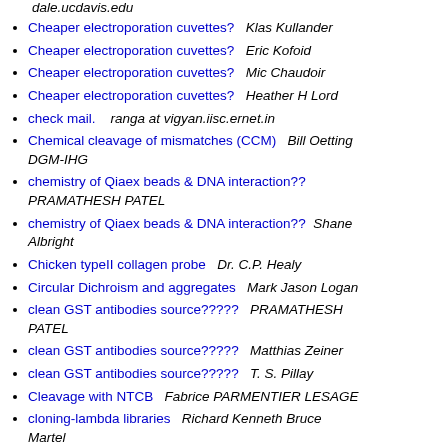dale.ucdavis.edu
Cheaper electroporation cuvettes?   Klas Kullander
Cheaper electroporation cuvettes?   Eric Kofoid
Cheaper electroporation cuvettes?   Mic Chaudoir
Cheaper electroporation cuvettes?   Heather H Lord
check mail.   ranga at vigyan.iisc.ernet.in
Chemical cleavage of mismatches (CCM)   Bill Oetting DGM-IHG
chemistry of Qiaex beads & DNA interaction??   PRAMATHESH PATEL
chemistry of Qiaex beads & DNA interaction??   Shane Albright
Chicken typeII collagen probe   Dr. C.P. Healy
Circular Dichroism and aggregates   Mark Jason Logan
clean GST antibodies source?????   PRAMATHESH PATEL
clean GST antibodies source?????   Matthias Zeiner
clean GST antibodies source?????   T. S. Pillay
Cleavage with NTCB   Fabrice PARMENTIER LESAGE
cloning-lambda libraries   Richard Kenneth Bruce Martel
cloning-lambda-inserts   Lauri Lintott
Clontech Ligation Express   Richard T. Timmer
Co-transfection methods   Ian A. York
Codon preferences of differrent organisms   Klaus